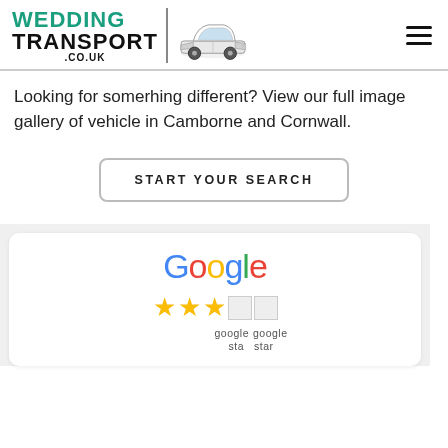[Figure (logo): Wedding Transport .co.uk logo with stylized Rolls-Royce car silhouette and green/black wordmark]
Looking for somerhing different? View our full image gallery of vehicle in Camborne and Cornwall.
START YOUR SEARCH
[Figure (screenshot): Google review widget showing Google logo, 3 gold stars, 2 broken image placeholders labeled 'google star', and partial star label text]